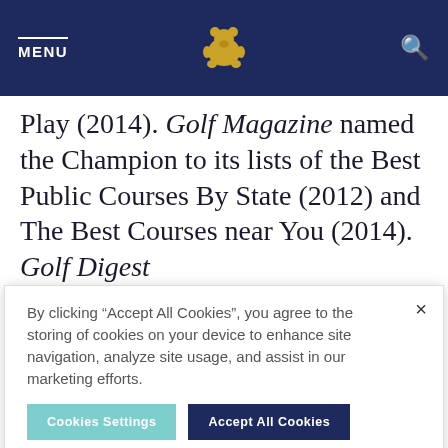MENU [bear logo] [search icon]
Play (2014). Golf Magazine named the Champion to its lists of the Best Public Courses By State (2012) and The Best Courses near You (2014). Golf Digest
By clicking “Accept All Cookies”, you agree to the storing of cookies on your device to enhance site navigation, analyze site usage, and assist in our marketing efforts.
Cookies Settings   Accept All Cookies